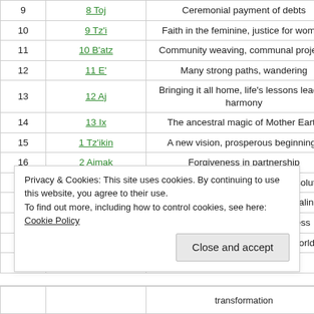| # | Day | Meaning |
| --- | --- | --- |
| 9 | 8 Toj | Ceremonial payment of debts |
| 10 | 9 Tz'i | Faith in the feminine, justice for women |
| 11 | 10 B'atz | Community weaving, communal projects |
| 12 | 11 E' | Many strong paths, wandering |
| 13 | 12 Aj | Bringing it all home, life's lessons lead to harmony |
| 14 | 13 Ix | The ancestral magic of Mother Earth |
| 15 | 1 Tz'ikin | A new vision, prosperous beginnings |
| 16 | 2 Ajmak | Forgiveness in partnership |
| 17 | 3 N'oj | Contemplation, meditation brings solutions |
| 18 | 4 Tijax | Stabilising division, physical healing |
| 19 | 5 Kawok | Working on the birthing process |
| 20 | 6 Ajpu | Stabilising the divinity in the world |
| 21 | 7 Imox | Finalising the dream |
Privacy & Cookies: This site uses cookies. By continuing to use this website, you agree to their use.
To find out more, including how to control cookies, see here: Cookie Policy